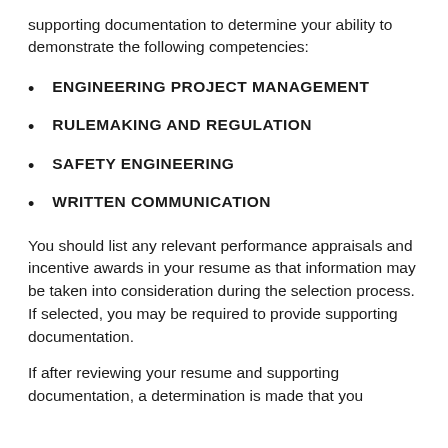supporting documentation to determine your ability to demonstrate the following competencies:
ENGINEERING PROJECT MANAGEMENT
RULEMAKING AND REGULATION
SAFETY ENGINEERING
WRITTEN COMMUNICATION
You should list any relevant performance appraisals and incentive awards in your resume as that information may be taken into consideration during the selection process. If selected, you may be required to provide supporting documentation.
If after reviewing your resume and supporting documentation, a determination is made that you